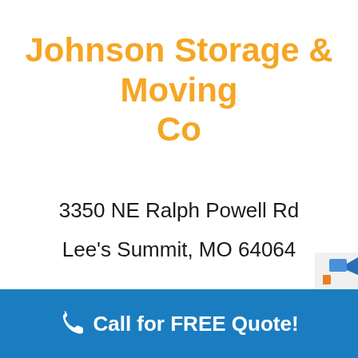Johnson Storage & Moving Co
3350 NE Ralph Powell Rd
Lee's Summit, MO 64064
Call for FREE Quote!